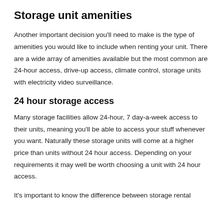Storage unit amenities
Another important decision you'll need to make is the type of amenities you would like to include when renting your unit. There are a wide array of amenities available but the most common are 24-hour access, drive-up access, climate control, storage units with electricity video surveillance.
24 hour storage access
Many storage facilities allow 24-hour, 7 day-a-week access to their units, meaning you'll be able to access your stuff whenever you want. Naturally these storage units will come at a higher price than units without 24 hour access. Depending on your requirements it may well be worth choosing a unit with 24 hour access.
It's important to know the difference between storage rental